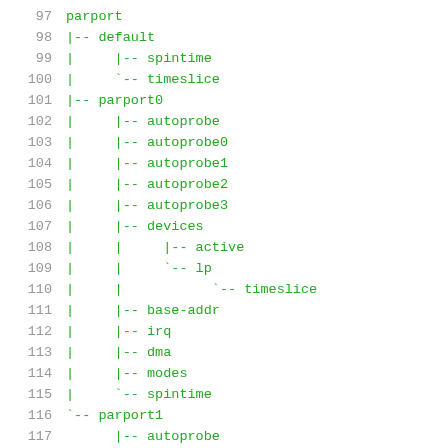97  parport
98  |-- default
99  |     |-- spintime
100 |     `-- timeslice
101 |-- parport0
102 |     |-- autoprobe
103 |     |-- autoprobe0
104 |     |-- autoprobe1
105 |     |-- autoprobe2
106 |     |-- autoprobe3
107 |     |-- devices
108 |     |     |-- active
109 |     |     `-- lp
110 |     |           `-- timeslice
111 |     |-- base-addr
112 |     |-- irq
113 |     |-- dma
114 |     |-- modes
115 |     `-- spintime
116 `-- parport1
117       |-- autoprobe